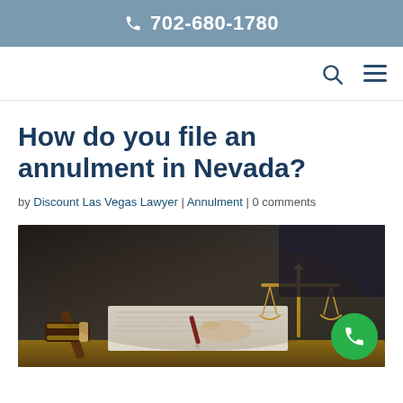702-680-1780
How do you file an annulment in Nevada?
by Discount Las Vegas Lawyer | Annulment | 0 comments
[Figure (photo): Lawyer at desk writing with pen, gavel on desk, golden scales of justice in background]